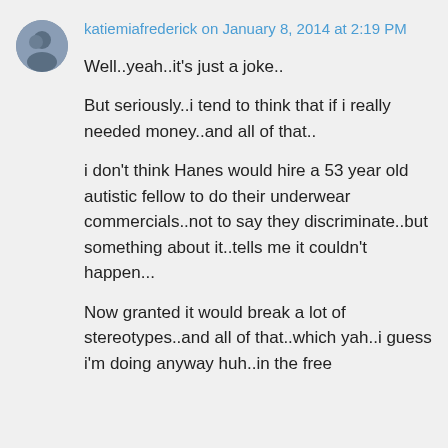katiemiafrederick on January 8, 2014 at 2:19 PM
Well..yeah..it's just a joke..
But seriously..i tend to think that if i really needed money..and all of that..
i don't think Hanes would hire a 53 year old autistic fellow to do their underwear commercials..not to say they discriminate..but something about it..tells me it couldn't happen...
Now granted it would break a lot of stereotypes..and all of that..which yah..i guess i'm doing anyway huh..in the free